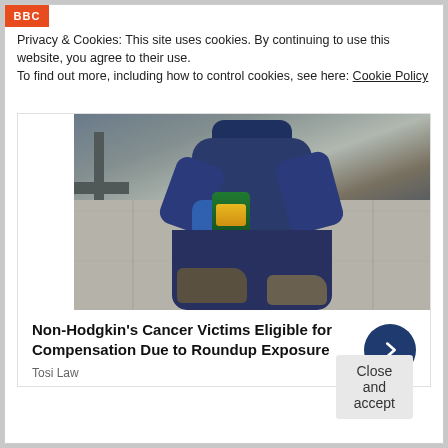BBC
Privacy & Cookies: This site uses cookies. By continuing to use this website, you agree to their use.
To find out more, including how to control cookies, see here: Cookie Policy
[Figure (photo): Advertisement showing a person in blue clothing and gloves kneeling on paving stones holding a Roundup herbicide bottle]
Non-Hodgkin's Cancer Victims Eligible for Compensation Due to Roundup Exposure
Tosi Law
Close and accept